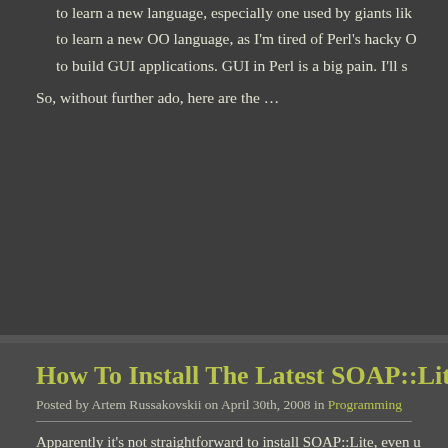to learn a new language, especially one used by giants lik...
to learn a new OO language, as I'm tired of Perl's hacky O...
to build GUI applications. GUI in Perl is a big pain. I'll s...
So, without further ado, here are the ...
How To Install The Latest SOAP::Lite Using
Posted by Artem Russakovskii on April 30th, 2008 in Programming
Apparently it's not straightforward to install SOAP::Lite, even u...
Check this out.
[Figure (screenshot): Terminal code block showing: 1 cpan[1]> install SOAP::Lite  2 CPAN: Storable loaded ok (v2.18)  3 (partial line cut off)]